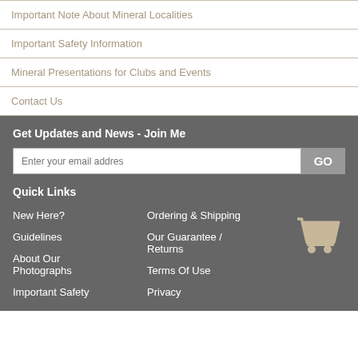Important Note About Mineral Localities
Important Safety Information
Mineral Presentations for Clubs and Events
Contact Us
Get Updates and News - Join Me
Enter your email address  GO
Quick Links
New Here?
Guidelines
About Our Photographs
Ordering & Shipping
Our Guarantee / Returns
Terms Of Use
Important Safety
Privacy
[Figure (illustration): Shopping cart icon in tan/beige color]